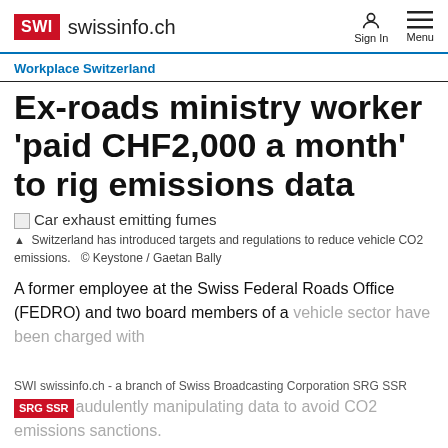SWI swissinfo.ch  Sign In  Menu
Workplace Switzerland
Ex-roads ministry worker 'paid CHF2,000 a month' to rig emissions data
Car exhaust emitting fumes
▲ Switzerland has introduced targets and regulations to reduce vehicle CO2 emissions.  © Keystone / Gaetan Bally
A former employee at the Swiss Federal Roads Office (FEDRO) and two board members of a vehicle sector have been charged with fraudulently manipulating data to avoid CO2 emissions sanctions.
SWI swissinfo.ch - a branch of Swiss Broadcasting Corporation SRG SSR